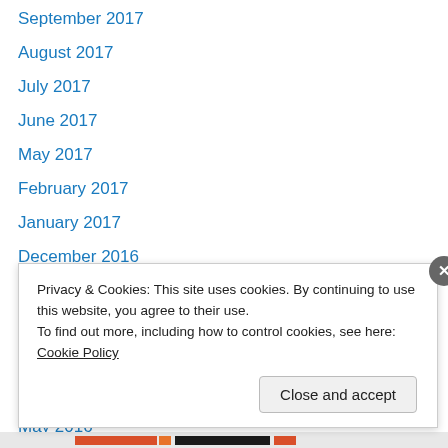September 2017
August 2017
July 2017
June 2017
May 2017
February 2017
January 2017
December 2016
November 2016
October 2016
September 2016
July 2016
May 2016
Privacy & Cookies: This site uses cookies. By continuing to use this website, you agree to their use. To find out more, including how to control cookies, see here: Cookie Policy
Close and accept